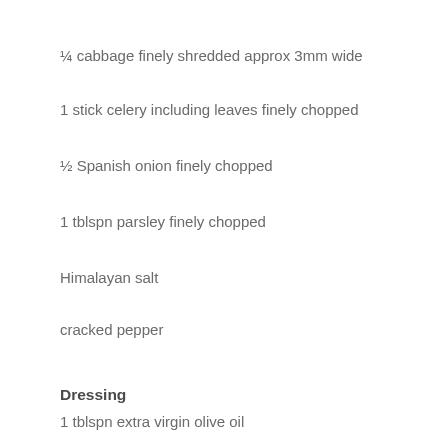¼ cabbage finely shredded approx 3mm wide
1 stick celery including leaves finely chopped
½ Spanish onion finely chopped
1 tblspn parsley finely chopped
Himalayan salt
cracked pepper
Dressing
1 tblspn extra virgin olive oil